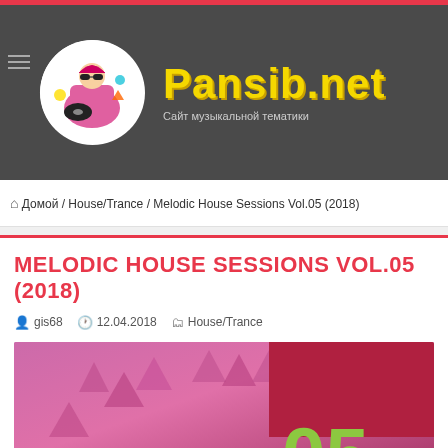[Figure (logo): Pansib.net website logo with DJ figure in pink outfit on circular white background, and yellow bold site name text with Cyrillic subtitle]
🏠 Домой / House/Trance / Melodic House Sessions Vol.05 (2018)
MELODIC HOUSE SESSIONS VOL.05 (2018)
gis68   12.04.2018   House/Trance
[Figure (illustration): Album cover art with pink/magenta gradient background, triangle patterns, dark red square in upper right, and large green number 05]